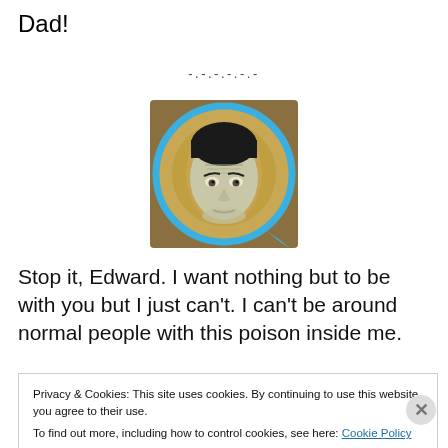Dad!
[Figure (illustration): Illustrated portrait of a pale, serious-looking man inside a circular blue frame on a golden/brown background]
Stop it, Edward. I want nothing but to be with you but I just can't. I can't be around normal people with this poison inside me.
Privacy & Cookies: This site uses cookies. By continuing to use this website, you agree to their use.
To find out more, including how to control cookies, see here: Cookie Policy
Close and accept